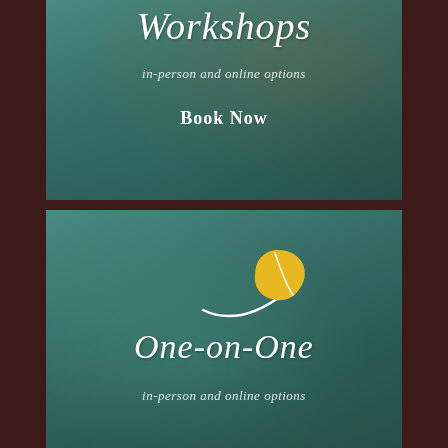[Figure (illustration): Top card with teal/green background showing workshops section with script title, subtitle, and Book Now button]
Workshops
in-person and online options
Book Now
[Figure (illustration): Bottom card with teal/green background showing One-on-One section with yellow leaf logo, script title, and subtitle]
[Figure (logo): Yellow leaf with white curved stem/line logo]
One-on-One
in-person and online options